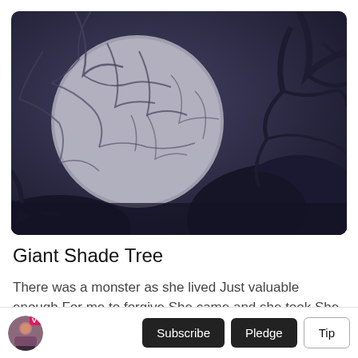[Figure (illustration): Dark moody illustration of bare tree branches at night with a large glowing full moon visible through the branches. The color palette is deep navy/purple-blue with the moon rendered as a large light grey circle. The image has rounded corners.]
Giant Shade Tree
There was a monster as she lived Just valuable enough For me to forgive She came and she took She gave a lot